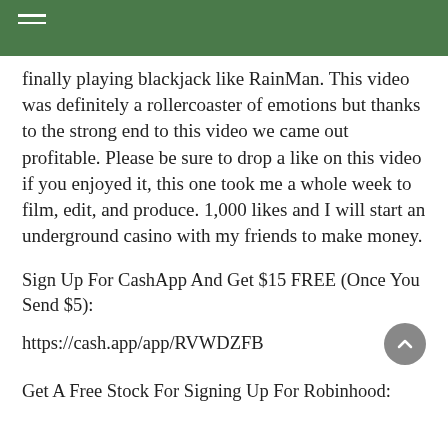finally playing blackjack like RainMan. This video was definitely a rollercoaster of emotions but thanks to the strong end to this video we came out profitable. Please be sure to drop a like on this video if you enjoyed it, this one took me a whole week to film, edit, and produce. 1,000 likes and I will start an underground casino with my friends to make money.
Sign Up For CashApp And Get $15 FREE (Once You Send $5):
https://cash.app/app/RVWDZFB
Get A Free Stock For Signing Up For Robinhood: